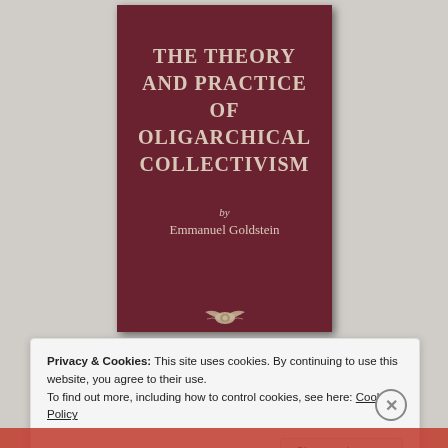[Figure (photo): Book cover of 'The Theory and Practice of Oligarchical Collectivism' by Emmanuel Goldstein. Dark red/maroon cloth cover with cream/beige title text centered near top, author name below, and a small decorative emblem near the bottom center.]
Privacy & Cookies: This site uses cookies. By continuing to use this website, you agree to their use.
To find out more, including how to control cookies, see here: Cookie Policy
Close and accept